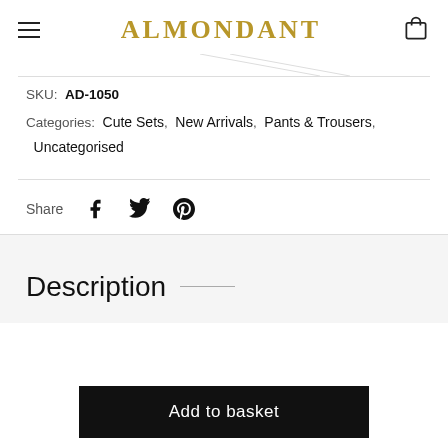ALMONDANT
SKU: AD-1050
Categories: Cute Sets, New Arrivals, Pants & Trousers, Uncategorised
Share
Description
Add to basket